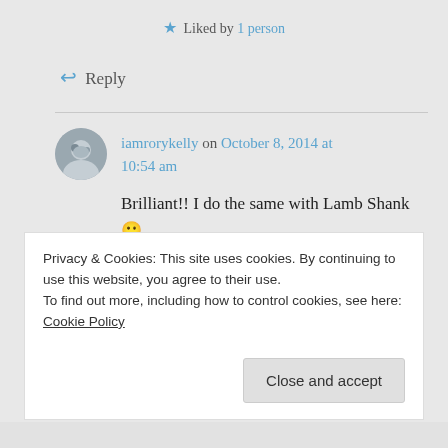★ Liked by 1 person
↩ Reply
iamrorykelly on October 8, 2014 at 10:54 am
Brilliant!! I do the same with Lamb Shank 🙂
★ Liked by 1 person
Privacy & Cookies: This site uses cookies. By continuing to use this website, you agree to their use.
To find out more, including how to control cookies, see here: Cookie Policy
Close and accept